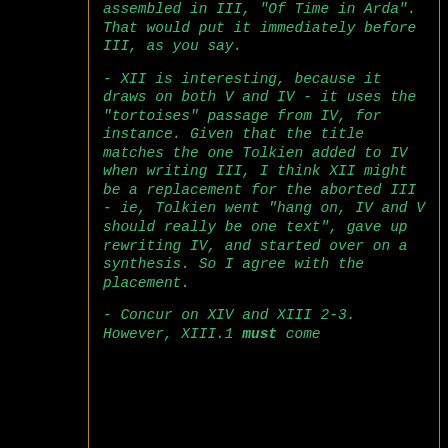assembled in III, "Of Time in Arda". That would put it immediately before III, as you say.

- XII is interesting, because it draws on both V and IV - it uses the "tortoises" passage from IV, for instance. Given that the title matches the one Tolkien added to IV when writing III, I think XII might be a replacement for the aborted III - ie, Tolkien went "hang on, IV and V should really be one text", gave up rewriting IV, and started over on a synthesis. So I agree with the placement.

- Concur on XIV and XIII 2-3. However, XIII.1 must come